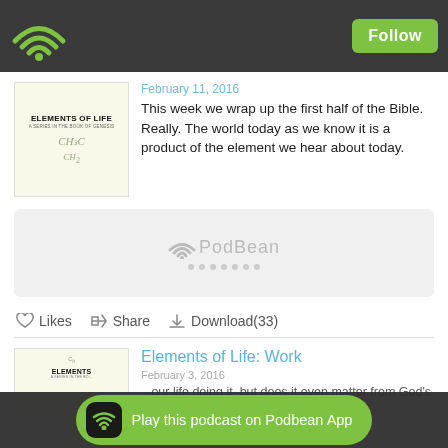[Figure (screenshot): Podbean podcast app screenshot showing top navigation bar with WiFi/podcast icon logo and green Follow button]
February 11, 2016
[Figure (illustration): Elements of Life podcast album art - light yellow background with bold text 'ELEMENTS of LIFE, A SERIES IN THE BOOK OF GENESIS' and chemical formula handwriting]
This week we wrap up the first half of the Bible. Really. The world today as we know it is a product of the element we hear about today.
[Figure (screenshot): PodBean audio player widget with gray background showing PodBean logo and loading dots]
Likes  Share  Download(33)
Elements of Life: Work
February 3, 2016
...our life doing it, but does it even matter from God's
Play this podcast on Podbean App